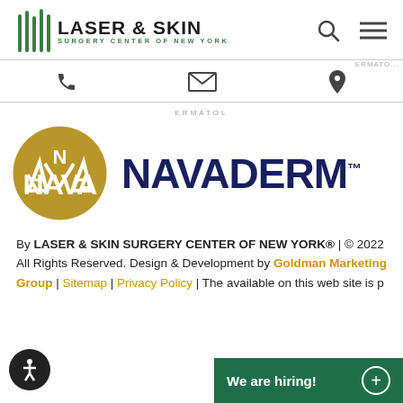LASER & SKIN SURGERY CENTER OF NEW YORK
[Figure (logo): Navaderm logo — gold circle with NAVA text inside, followed by NAVADERM™ in dark navy blue]
By LASER & SKIN SURGERY CENTER OF NEW YORK® | © 2022 All Rights Reserved. Design & Development by Goldman Marketing Group | Sitemap | Privacy Policy | The available on this web site is p
[Figure (other): Accessibility button (person in circle icon) and We are hiring! green banner with plus icon]